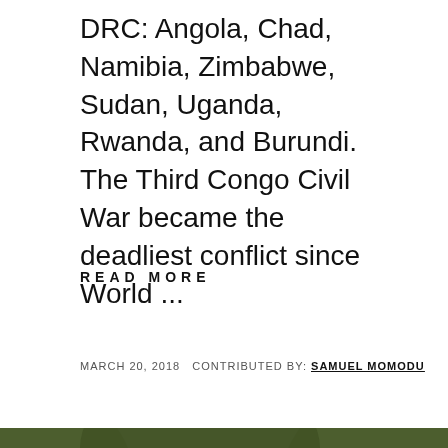DRC: Angola, Chad, Namibia, Zimbabwe, Sudan, Uganda, Rwanda, and Burundi. The Third Congo Civil War became the deadliest conflict since World ...
READ MORE
MARCH 20, 2018  CONTRIBUTED BY: SAMUEL MOMODU
[Figure (photo): Photograph of soldiers in green military uniforms and steel helmets, standing in a forested area. The foreground soldier has ammunition belt across chest. Several soldiers visible behind him.]